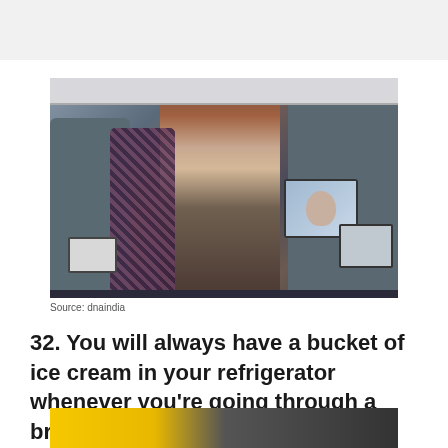[Figure (photo): A young woman with long brown hair stands in an airplane cabin, talking on a mobile phone. She wears a dark red jacket over a grey shirt and carries a shoulder bag. Other passengers are seated around her; airplane seat-back screens are visible throughout the cabin.]
Source: dnaindia
32. You will always have a bucket of ice cream in your refrigerator whenever you're going through a break-up.
[Figure (photo): Partial view of another image at the bottom of the page showing yellow and dark tones, partially cropped.]